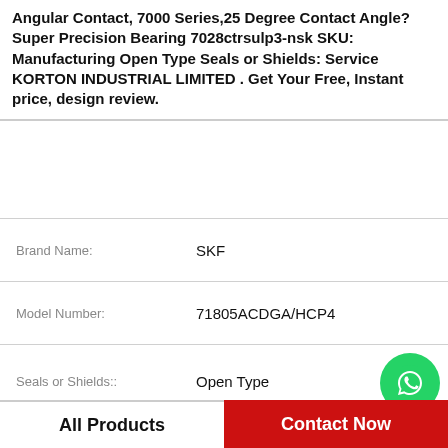Angular Contact, 7000 Series,25 Degree Contact Angle? Super Precision Bearing 7028ctrsulp3-nsk SKU: Manufacturing Open Type Seals or Shields: Service KORTON INDUSTRIAL LIMITED . Get Your Free, Instant price, design review.
| Attribute | Value |
| --- | --- |
| Brand Name: | SKF |
| Model Number: | 71805ACDGA/HCP4 |
| Seals or Shields:: | Open Type |
| SKU:: | 7028ctrsulp3-nsk |
| Clearance:: | Standard |
| D: | 210mm |
| d: | 140mm |
[Figure (logo): WhatsApp Online green circle icon with phone handset, labeled WhatsApp Online]
All Products   Contact Now